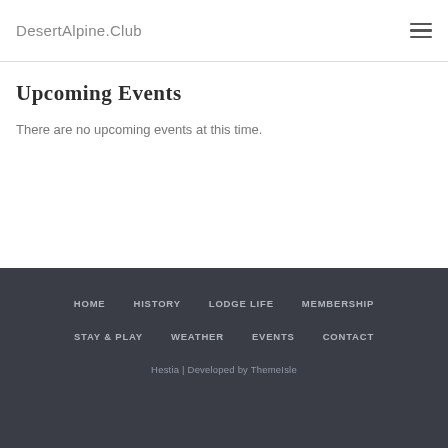DesertAlpine.Club
Upcoming Events
There are no upcoming events at this time.
HOME  HISTORY  LODGE LIFE  MEMBERSHIP  STAY & PLAY  WEATHER  EVENTS  CONTACT  Hestia | Developed by ThemeIsle